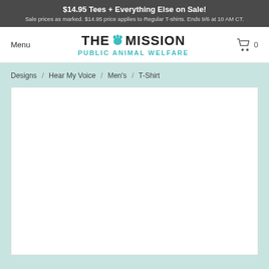$14.95 Tees + Everything Else on Sale! Sale prices as marked. $14.95 price applies to Regular T-shirts. Ends 9/6 at 10 AM CT.
Menu
[Figure (logo): The Mission Public Animal Welfare logo with teal paw print]
[Figure (other): Shopping cart icon with 0 items]
Designs / Hear My Voice / Men's / T-Shirt
[Figure (photo): White product display area for t-shirt]